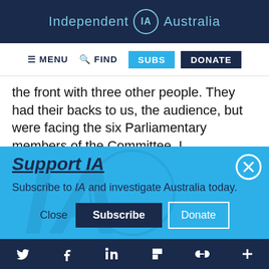Independent IA Australia
MENU  FIND  SUBS  DONATE
the front with three other people. They had their backs to us, the audience, but were facing the six Parliamentary members of the Committee. I
Support IA
Subscribe to IA and investigate Australia today.
Close  Subscribe  Donate
Twitter  Facebook  LinkedIn  Flipboard  Link  Plus